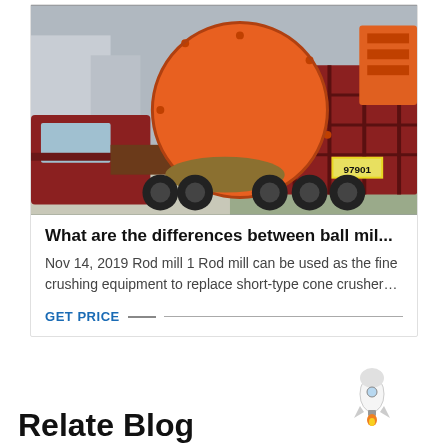[Figure (photo): A large orange industrial ball mill drum loaded on a flatbed truck with red metal frame sides, being transported on a road. License plate visible reading 97901.]
What are the differences between ball mil...
Nov 14, 2019 Rod mill 1 Rod mill can be used as the fine crushing equipment to replace short-type cone crusher…
GET PRICE
[Figure (illustration): Small rocket emoji / illustration icon]
Relate Blog